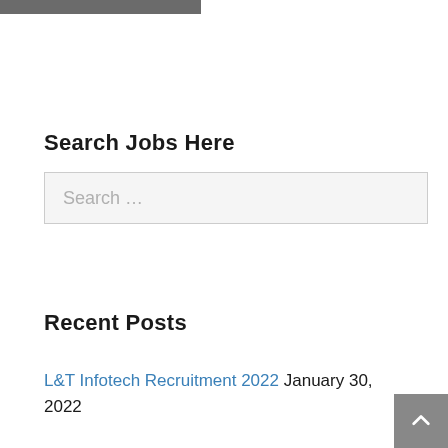Search Jobs Here
Search ...
Recent Posts
L&T Infotech Recruitment 2022  January 30, 2022